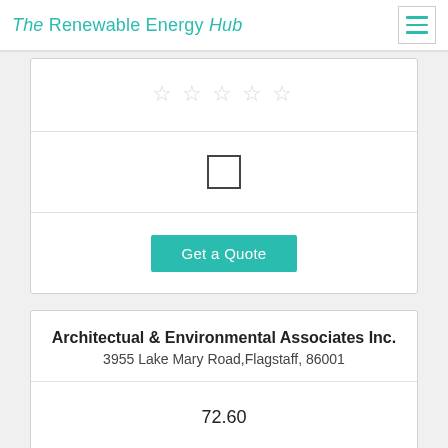The Renewable Energy Hub
[Figure (other): Star rating widget with 5 empty/grey stars]
[Figure (other): Empty checkbox square]
Get a Quote
Architectual & Environmental Associates Inc.
3955 Lake Mary Road,Flagstaff, 86001
72.60